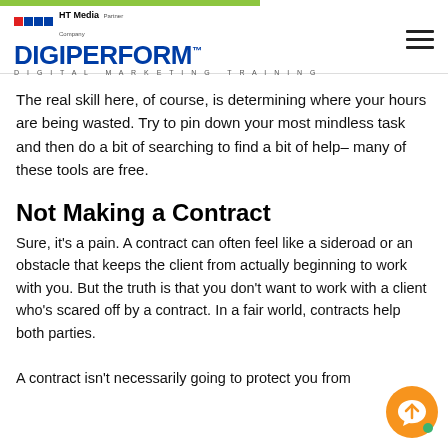HT Media Partner Company | DIGIPERFORM™ | DIGITAL MARKETING TRAINING
The real skill here, of course, is determining where your hours are being wasted. Try to pin down your most mindless task and then do a bit of searching to find a bit of help– many of these tools are free.
Not Making a Contract
Sure, it's a pain. A contract can often feel like a sideroad or an obstacle that keeps the client from actually beginning to work with you. But the truth is that you don't want to work with a client who's scared off by a contract. In a fair world, contracts help both parties.
A contract isn't necessarily going to protect you from